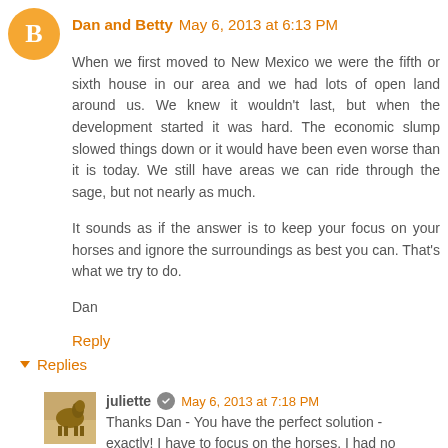Dan and Betty May 6, 2013 at 6:13 PM
When we first moved to New Mexico we were the fifth or sixth house in our area and we had lots of open land around us. We knew it wouldn't last, but when the development started it was hard. The economic slump slowed things down or it would have been even worse than it is today. We still have areas we can ride through the sage, but not nearly as much.
It sounds as if the answer is to keep your focus on your horses and ignore the surroundings as best you can. That's what we try to do.
Dan
Reply
Replies
juliette May 6, 2013 at 7:18 PM
Thanks Dan - You have the perfect solution - exactly! I have to focus on the horses. I had no